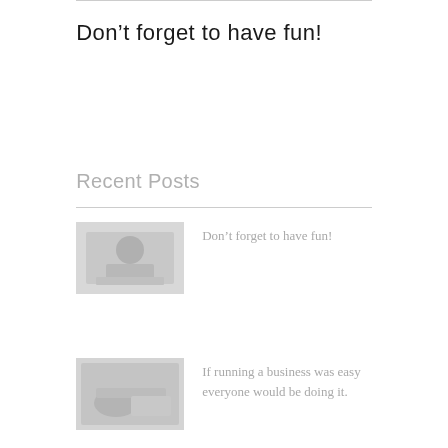Don’t forget to have fun!
Recent Posts
[Figure (photo): Thumbnail photo of a person sitting at a desk looking stressed, head resting on hand]
Don’t forget to have fun!
[Figure (photo): Thumbnail photo of a person lying down on a desk or surface, appearing tired or asleep]
If running a business was easy everyone would be doing it.